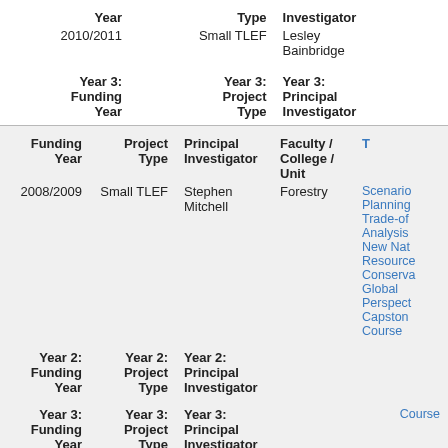| Year | Type | Investigator |
| --- | --- | --- |
| 2010/2011 | Small TLEF | Lesley Bainbridge |
| Year 3: Funding Year | Year 3: Project Type | Year 3: Principal Investigator |
| Funding Year | Project Type | Principal Investigator | Faculty / College / Unit | T |
| --- | --- | --- | --- | --- |
| 2008/2009 | Small TLEF | Stephen Mitchell | Forestry | Scenario Planning Trade-off Analysis New Nat Resource Conserva Global Perspect Capstone Course |
| Year 2: Funding Year | Year 2: Project Type | Year 2: Principal Investigator |  |  |
| Year 3: Funding Year | Year 3: Project Type | Year 3: Principal Investigator |  |  |